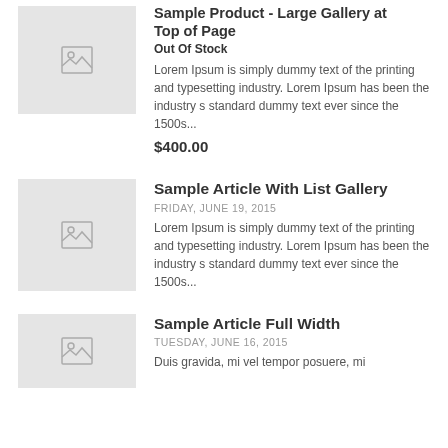[Figure (illustration): Gray placeholder thumbnail with image icon for first product listing]
Sample Product - Large Gallery at Top of Page
Out Of Stock
Lorem Ipsum is simply dummy text of the printing and typesetting industry. Lorem Ipsum has been the industry s standard dummy text ever since the 1500s...
$400.00
[Figure (illustration): Gray placeholder thumbnail with image icon for second article listing]
Sample Article With List Gallery
FRIDAY, JUNE 19, 2015
Lorem Ipsum is simply dummy text of the printing and typesetting industry. Lorem Ipsum has been the industry s standard dummy text ever since the 1500s...
[Figure (illustration): Gray placeholder thumbnail with image icon for third article listing]
Sample Article Full Width
TUESDAY, JUNE 16, 2015
Duis gravida, mi vel tempor posuere, mi